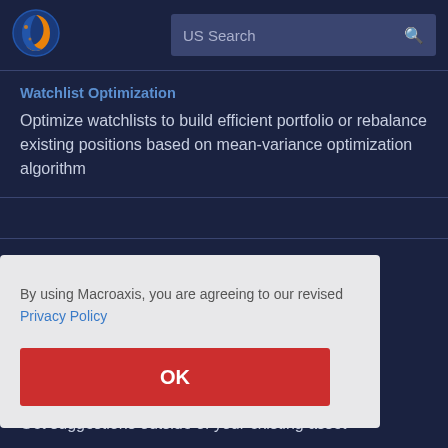[Figure (logo): Macroaxis logo — circular globe icon with orange and blue colors]
US Search
Watchlist Optimization
Optimize watchlists to build efficient portfolio or rebalance existing positions based on mean-variance optimization algorithm
Aroon Oscillator
By using Macroaxis, you are agreeing to our revised Privacy Policy
OK
Get suggestions outside of your existing asset